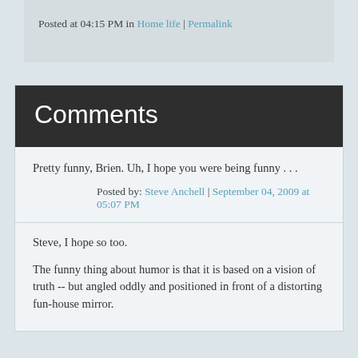Posted at 04:15 PM in Home life | Permalink
Comments
Pretty funny, Brien. Uh, I hope you were being funny . . .
Posted by: Steve Anchell | September 04, 2009 at 05:07 PM
Steve, I hope so too.
The funny thing about humor is that it is based on a vision of truth -- but angled oddly and positioned in front of a distorting fun-house mirror.